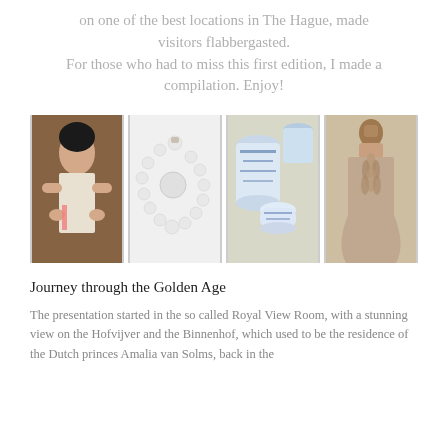on one of the best locations in The Hague, made visitors flabbergasted. For those who had to miss this first edition, I made a compilation. Enjoy!
[Figure (photo): Four photos side by side: 1) A woman in a white dress with dark hair posing dramatically. 2) A white beaded/pearl necklace on white background. 3) Blue and white Delft pottery/porcelain vases. 4) The back of a person in a detailed brown/mauve ruffled dress.]
Journey through the Golden Age
The presentation started in the so called Royal View Room, with a stunning view on the Hofvijver and the Binnenhof, which used to be the residence of the Dutch princes Amalia van Solms, back in the